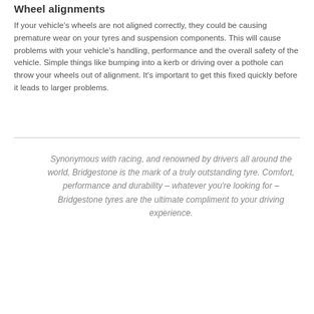Wheel alignments
If your vehicle's wheels are not aligned correctly, they could be causing premature wear on your tyres and suspension components. This will cause problems with your vehicle's handling, performance and the overall safety of the vehicle. Simple things like bumping into a kerb or driving over a pothole can throw your wheels out of alignment. It's important to get this fixed quickly before it leads to larger problems.
Synonymous with racing, and renowned by drivers all around the world, Bridgestone is the mark of a truly outstanding tyre. Comfort, performance and durability – whatever you're looking for – Bridgestone tyres are the ultimate compliment to your driving experience.